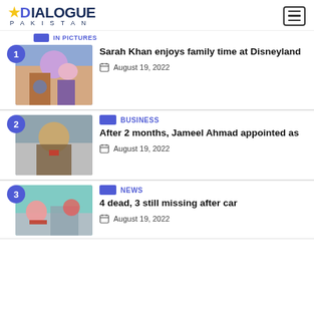DIALOGUE PAKISTAN
IN PICTURES
Sarah Khan enjoys family time at Disneyland
August 19, 2022
BUSINESS
After 2 months, Jameel Ahmad appointed as
August 19, 2022
NEWS
4 dead, 3 still missing after car
August 19, 2022